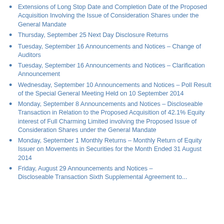Extensions of Long Stop Date and Completion Date of the Proposed Acquisition Involving the Issue of Consideration Shares under the General Mandate
Thursday, September 25 Next Day Disclosure Returns
Tuesday, September 16 Announcements and Notices – Change of Auditors
Tuesday, September 16 Announcements and Notices – Clarification Announcement
Wednesday, September 10 Announcements and Notices – Poll Result of the Special General Meeting Held on 10 September 2014
Monday, September 8 Announcements and Notices – Discloseable Transaction in Relation to the Proposed Acquisition of 42.1% Equity interest of Full Charming Limited involving the Proposed Issue of Consideration Shares under the General Mandate
Monday, September 1 Monthly Returns – Monthly Return of Equity Issuer on Movements in Securities for the Month Ended 31 August 2014
Friday, August 29 Announcements and Notices – Discloseable Transaction Sixth Supplemental Agreement to...